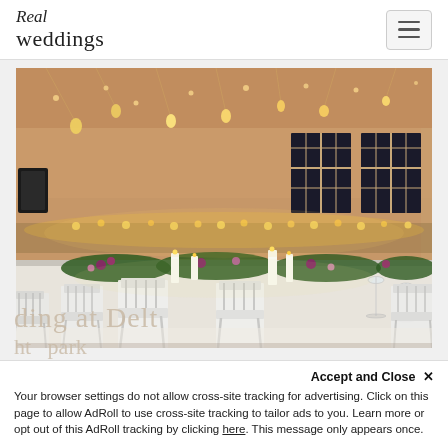Real Weddings
[Figure (photo): Elegant wedding reception venue with white Chiavari chairs, long banquet tables with white linen, floral greenery centerpieces, candles, wine glasses, and hanging string lights and lanterns from the ceiling creating a warm amber glow in a ballroom with French doors.]
Accept and Close ✕
Your browser settings do not allow cross-site tracking for advertising. Click on this page to allow AdRoll to use cross-site tracking to tailor ads to you. Learn more or opt out of this AdRoll tracking by clicking here. This message only appears once.